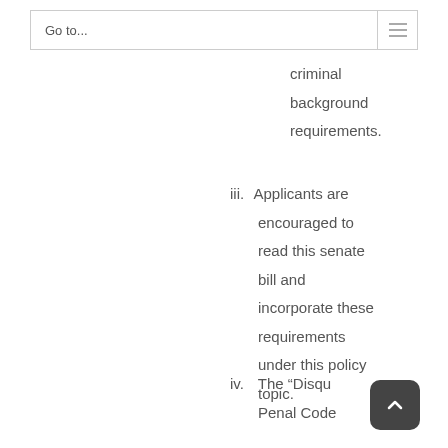Go to...
criminal background requirements.
iii. Applicants are encouraged to read this senate bill and incorporate these requirements under this policy topic.
iv. The “Disqualifying Penal Code Sections” list no